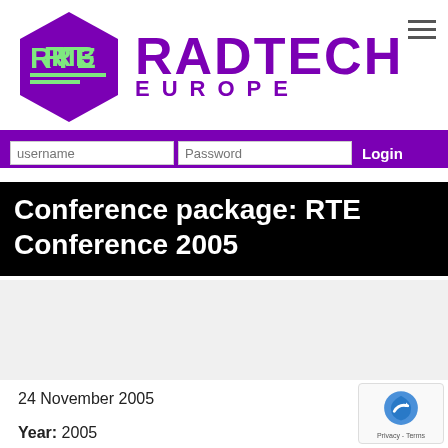[Figure (logo): RadTech Europe logo: purple hexagon with 'RTE' in green, followed by 'RADTECH EUROPE' in purple text]
username    Password    Login
Conference package: RTE Conference 2005
24 November 2005
Year: 2005